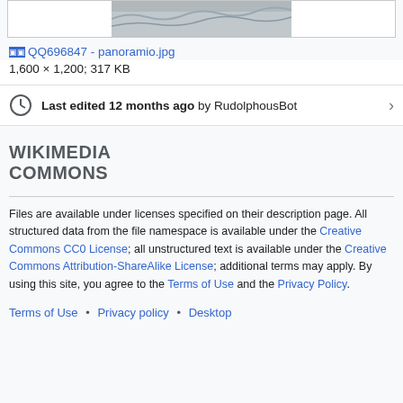[Figure (photo): Partial view of a panoramic photo (water/landscape), shown cropped at top]
QQ696847 - panoramio.jpg
1,600 × 1,200; 317 KB
Last edited 12 months ago by RudolphousBot
WIKIMEDIA COMMONS
Files are available under licenses specified on their description page. All structured data from the file namespace is available under the Creative Commons CC0 License; all unstructured text is available under the Creative Commons Attribution-ShareAlike License; additional terms may apply. By using this site, you agree to the Terms of Use and the Privacy Policy.
Terms of Use • Privacy policy • Desktop